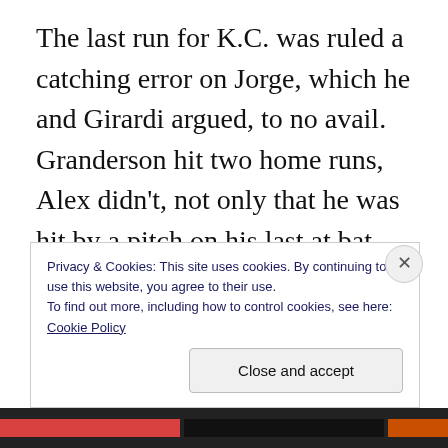The last run for K.C. was ruled a catching error on Jorge, which he and Girardi argued, to no avail. Granderson hit two home runs, Alex didn't, not only that he was hit by a pitch on his last at bat. The crowd was very upset, after sitting through the game, a rain delay, they were looking at possible 600th home run and a grand slam. Tomorrow's game is in Cleveland. The wait for #600 continues. Time: 3:13 (2:32
Privacy & Cookies: This site uses cookies. By continuing to use this website, you agree to their use.
To find out more, including how to control cookies, see here: Cookie Policy
Close and accept